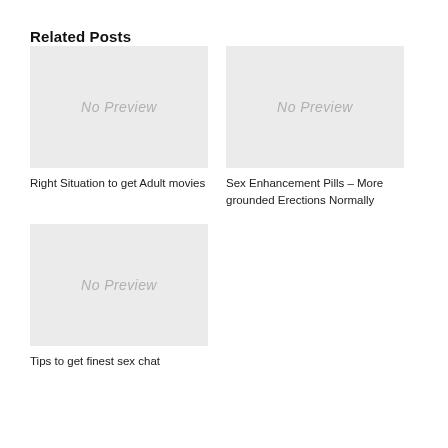Related Posts
[Figure (photo): No Preview placeholder image]
Right Situation to get Adult movies
[Figure (photo): No Preview placeholder image]
Sex Enhancement Pills – More grounded Erections Normally
[Figure (photo): No Preview placeholder image]
Tips to get finest sex chat